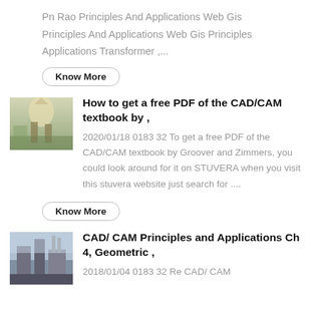Pn Rao Principles And Applications Web Gis Principles And Applications Web Gis Principles Applications Transformer ,...
Know More
[Figure (photo): Photo of people outdoors in bright sunlight near stone/concrete structures]
How to get a free PDF of the CAD/CAM textbook by ,
2020/01/18 0183 32 To get a free PDF of the CAD/CAM textbook by Groover and Zimmers, you could look around for it on STUVERA when you visit this stuvera website just search for ....
Know More
[Figure (photo): Photo of an industrial or construction structure outdoors]
CAD/ CAM Principles and Applications Ch 4, Geometric ,
2018/01/04 0183 32 Re CAD/ CAM